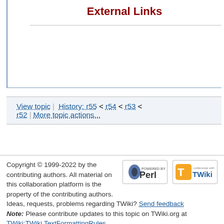External Links
View topic | History: r55 < r54 < r53 < r52 | More topic actions...
Copyright © 1999-2022 by the contributing authors. All material on this collaboration platform is the property of the contributing authors. Ideas, requests, problems regarding TWiki? Send feedback Note: Please contribute updates to this topic on TWiki.org at TWiki:TWiki.TextFormattingRules.